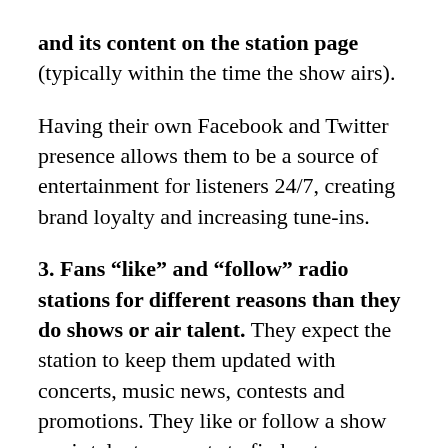and its content on the station page (typically within the time the show airs).
Having their own Facebook and Twitter presence allows them to be a source of entertainment for listeners 24/7, creating brand loyalty and increasing tune-ins.
3. Fans “like” and “follow” radio stations for different reasons than they do shows or air talent. They expect the station to keep them updated with concerts, music news, contests and promotions. They like or follow a show or air talent accounts to find out more about what